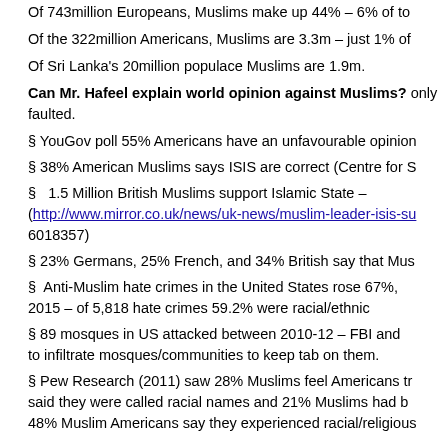Of 743million Europeans, Muslims make up 44% – 6% of to
Of the 322million Americans, Muslims are 3.3m – just 1% of
Of Sri Lanka's 20million populace Muslims are 1.9m.
Can Mr. Hafeel explain world opinion against Muslims? only faulted.
§ YouGov poll 55% Americans have an unfavourable opinion
§ 38% American Muslims says ISIS are correct (Centre for S
§ 1.5 Million British Muslims support Islamic State – (http://www.mirror.co.uk/news/uk-news/muslim-leader-isis-su 6018357)
§ 23% Germans, 25% French, and 34% British say that Mus
§ Anti-Muslim hate crimes in the United States rose 67%, 2015 – of 5,818 hate crimes 59.2% were racial/ethnic
§ 89 mosques in US attacked between 2010-12 – FBI and to infiltrate mosques/communities to keep tab on them.
§ Pew Research (2011) saw 28% Muslims feel Americans tr said they were called racial names and 21% Muslims had b 48% Muslim Americans say they experienced racial/religious